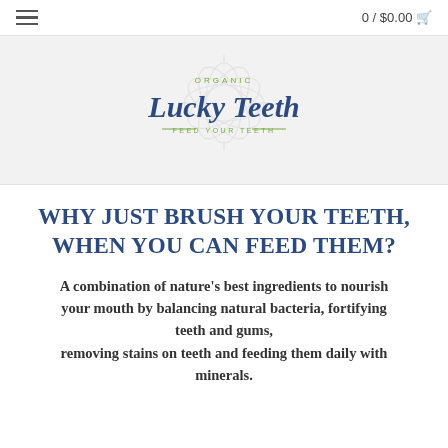0 / $0.00
[Figure (logo): Organic Lucky Teeth logo — decorative floral/sun burst watermark behind stylized script text reading 'Lucky Teeth' with 'ORGANIC' above and 'FEED YOUR TEETH' below in green]
WHY JUST BRUSH YOUR TEETH, WHEN YOU CAN FEED THEM?
A combination of nature's best ingredients to nourish your mouth by balancing natural bacteria, fortifying teeth and gums, removing stains on teeth and feeding them daily with minerals.